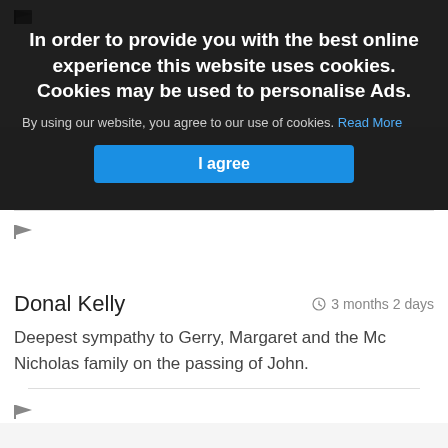In order to provide you with the best online experience this website uses cookies. Cookies may be used to personalise Ads.
By using our website, you agree to our use of cookies. Read More
I agree
Kathleen and Donal Belson
Deepest sympathy to Gerry, Margaret and family and all the members of the wider family circle on the death of John. In our thoughts and prayers. John.
Donal Kelly
3 months 2 days
Deepest sympathy to Gerry, Margaret and the Mc Nicholas family on the passing of John.